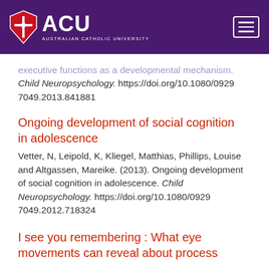ACU Australian Catholic University
executive functions as a developmental mechanism. Child Neuropsychology. https://doi.org/10.1080/09297049.2013.841881
Ongoing development of social cognition in adolescence
Vetter, N, Leipold, K, Kliegel, Matthias, Phillips, Louise and Altgassen, Mareike. (2013). Ongoing development of social cognition in adolescence. Child Neuropsychology. https://doi.org/10.1080/09297049.2012.718324
I see you remembering : What eye movements can reveal about process